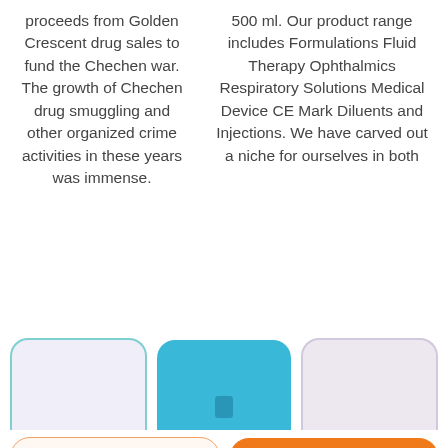proceeds from Golden Crescent drug sales to fund the Chechen war. The growth of Chechen drug smuggling and other organized crime activities in these years was immense.
500 ml. Our product range includes Formulations Fluid Therapy Ophthalmics Respiratory Solutions Medical Device CE Mark Diluents and Injections. We have carved out a niche for ourselves in both
[Figure (illustration): Three rounded rectangle cards partially visible at the bottom: a lavender card with teal border, a blue card, and a light pink/purple card.]
Get a Quote
Chat Now